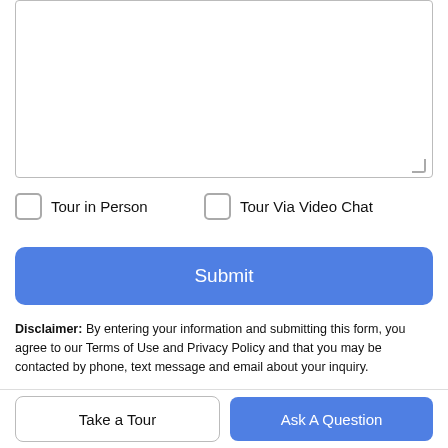[Figure (other): Empty textarea input box for user message]
Tour in Person
Tour Via Video Chat
Submit
Disclaimer: By entering your information and submitting this form, you agree to our Terms of Use and Privacy Policy and that you may be contacted by phone, text message and email about your inquiry.
[Figure (logo): MLS GRID logo with stacked colored squares]
Based on information submitted to the MLS GRID as of 2022-08-28T19:33:21.883 UTC. All data is obtained from various sources and may not have been verified by broker or MLS
Take a Tour
Ask A Question